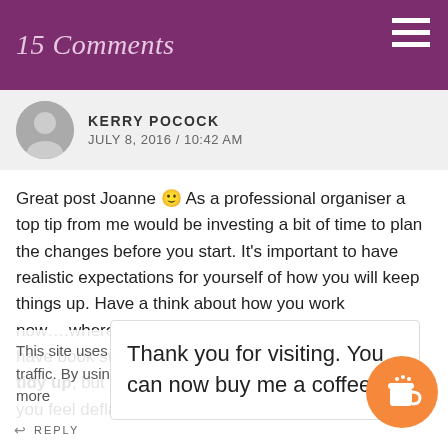15 Comments
KERRY POCOCK
JULY 8, 2016 / 10:42 AM
Great post Joanne 🙂 As a professional organiser a top tip from me would be investing a bit of time to plan the changes before you start. It's important to have realistic expectations for yourself of how you will keep things up. Have a think about how you work now….where do the 'things to do' end up? Do you have book storage in a convenient place? It is easy to tidy up, but if it's unrealistic to maintain it can make you feel deflated.
I'd be happ[y to chat…] out some ideas if you[…]
This site uses cookies to deliver its services and to analyse traffic. By using this site, you agree to its use of cookies. Learn more
Thank you for visiting. You can now buy me a coffee!
REPLY